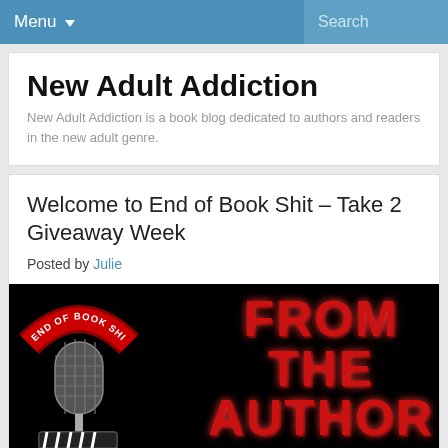Menu ▾  Search
New Adult Addiction
New Adult Addiction is a book blog dedicated to authors and readers in the new adult genre.
Welcome to End of Book Shit – Take 2 Giveaway Week
Posted by Julie
[Figure (photo): End of Book Shit Take 2 – From The Author banner image showing a microphone with a clapperboard and marquee-style red text reading FROM THE AUTHOR on a black background]